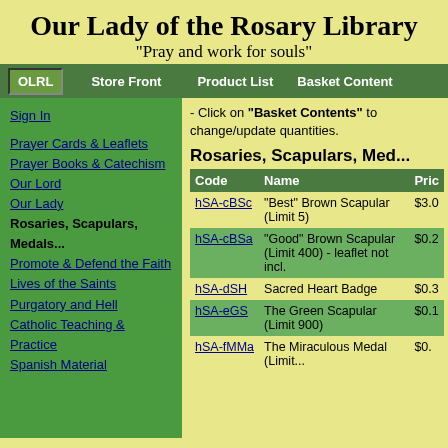Our Lady of the Rosary Library
"Pray and work for souls"
OLRL  Store Front  Product List  Basket Content
Sign In
Prayer Cards & Leaflets
Prayer Books & Catechism
Our Lord
Our Lady
Rosaries, Scapulars, Medals...
Promote & Defend the Faith
Lives of the Saints
Purgatory and Hell
Catholic Teaching & Practice
Spanish Material
- Click on "Basket Contents" to change/update quantities.
Rosaries, Scapulars, Med...
| Code | Name | Price |
| --- | --- | --- |
| hSA-cBSc | "Best" Brown Scapular (Limit 5) | $3.0 |
| hSA-cBSa | "Good" Brown Scapular (Limit 400) - leaflet not incl. | $0.2 |
| hSA-dSH | Sacred Heart Badge | $0.3 |
| hSA-eGS | The Green Scapular (Limit 900) | $0.1 |
| hSA-fMMa | The Miraculous Medal (Limit... | $0. |